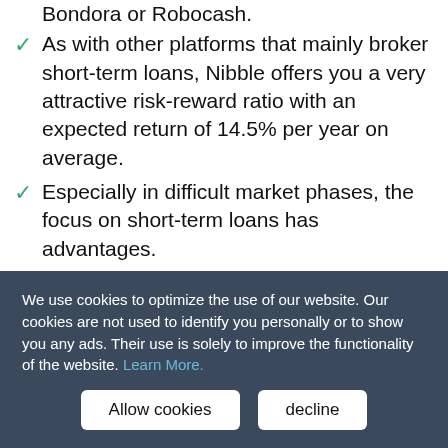As with other platforms that mainly broker short-term loans, Nibble offers you a very attractive risk-reward ratio with an expected return of 14.5% per year on average.
Especially in difficult market phases, the focus on short-term loans has advantages.
As an investor, Nibble is completely free of charge.
Disadvantages
You cannot manually invest in loans.
We use cookies to optimize the use of our website. Our cookies are not used to identify you personally or to show you any ads. Their use is solely to improve the functionality of the website. Learn More.
Allow cookies | decline